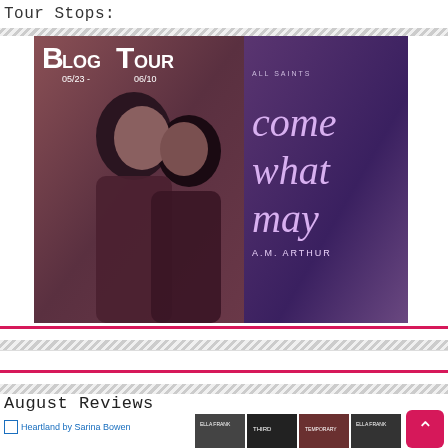Tour Stops:
[Figure (photo): Blog Tour banner for 'Come What May' by A.M. Arthur. Shows two young men about to kiss. Text reads: BLOG TOUR 05/23 - 06/10. ALL SAINTS. come what may. A.M. ARTHUR]
August Reviews
Heartland by Sarina Bowen
[Figure (photo): Row of book covers for August Reviews section, including multiple romance novel covers]